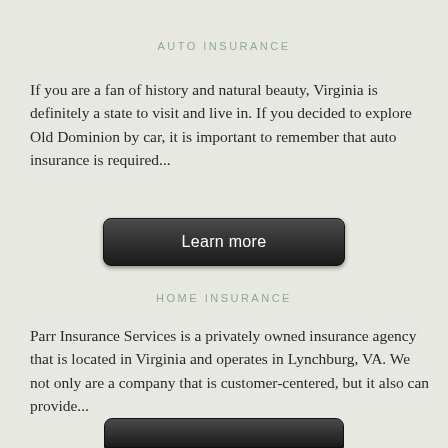AUTO INSURANCE
If you are a fan of history and natural beauty, Virginia is definitely a state to visit and live in. If you decided to explore Old Dominion by car, it is important to remember that auto insurance is required...
[Figure (other): Dark rounded button with text 'Learn more']
HOME INSURANCE
Parr Insurance Services is a privately owned insurance agency that is located in Virginia and operates in Lynchburg, VA. We not only are a company that is customer-centered, but it also can provide...
[Figure (other): Partially visible dark rounded button at bottom of page]